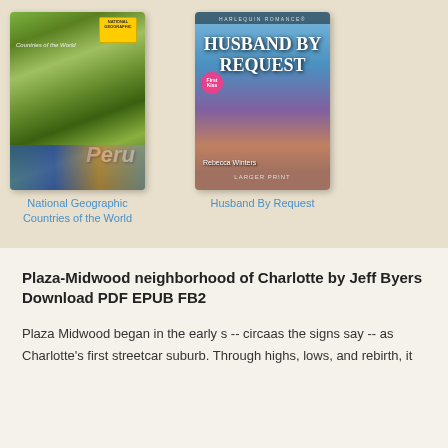[Figure (illustration): Book cover: National Geographic Countries of the World - Peru, showing colorful market scene with people in traditional dress]
National Geographic Countries of the World
[Figure (illustration): Book cover: Harlequin Romance - Husband By Request by Rebecca Winters, Larger Print, showing couple embracing against Mediterranean backdrop]
Husband By Request
Plaza-Midwood neighborhood of Charlotte by Jeff Byers Download PDF EPUB FB2
Plaza Midwood began in the early s -- circaas the signs say -- as Charlotte's first streetcar suburb. Through highs, lows, and rebirth, it